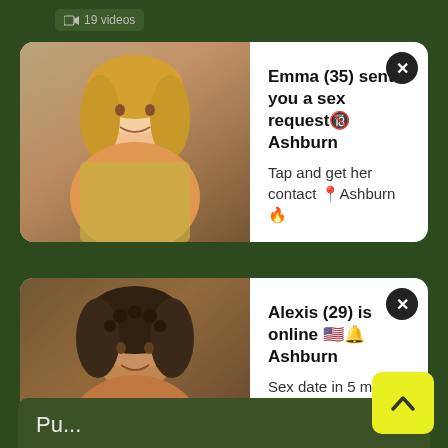[Figure (screenshot): Top bar showing video count tag with '19 videos']
[Figure (screenshot): Notification card 1: Emma (35) sent you a sex request, Ashburn. Tap and get her contact in Ashburn.]
[Figure (screenshot): Notification card 2: Alexis (29) is online in Ashburn. Sex date in 5 min. Just send a message.]
Pervert
23 videos
Perverted
21 videos